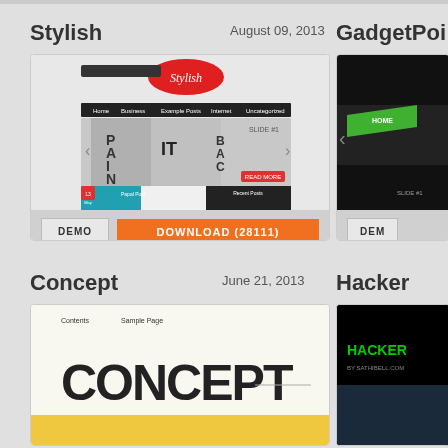Stylish
August 09, 2013
[Figure (screenshot): Screenshot of 'Stylish' WordPress theme showing a fashion slideshow with 'PAINT BACK' text and navigation buttons]
DEMO
DOWNLOAD (28111)
GadgetPoi
[Figure (screenshot): Partial screenshot of GadgetPoint dark theme with green button and slider arrow]
DEM
Concept
June 21, 2013
[Figure (screenshot): Screenshot of 'Concept' theme showing large bold 'CONCEPT' text]
Hacker
[Figure (screenshot): Partial screenshot of Hacker dark theme with green text]